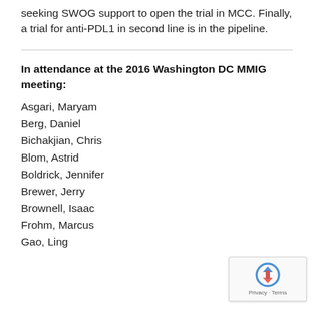seeking SWOG support to open the trial in MCC. Finally, a trial for anti-PDL1 in second line is in the pipeline.
In attendance at the 2016 Washington DC MMIG meeting:
Asgari, Maryam
Berg, Daniel
Bichakjian, Chris
Blom, Astrid
Boldrick, Jennifer
Brewer, Jerry
Brownell, Isaac
Frohm, Marcus
Gao, Ling